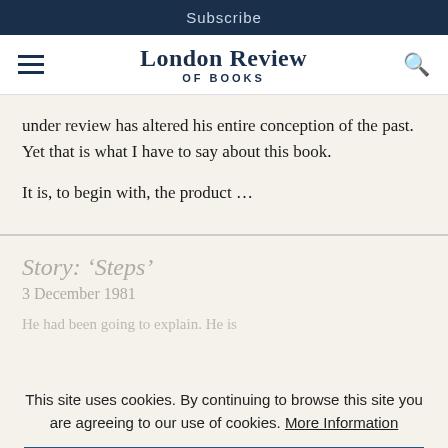Subscribe
London Review OF BOOKS
under review has altered his entire conception of the past. Yet that is what I have to say about this book.
It is, to begin with, the product …
Story: 'Steps'
3 December 1981
This site uses cookies. By continuing to browse this site you are agreeing to our use of cookies. More Information
Accept
longer seemed to be any reason to stay it….